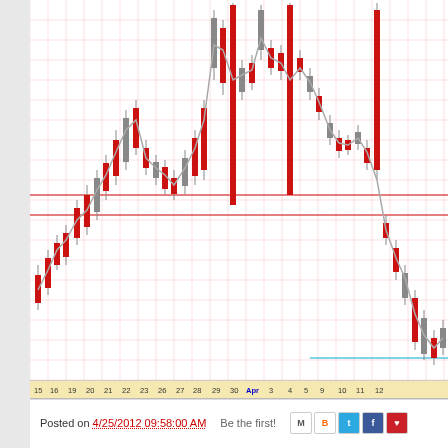[Figure (continuous-plot): Stock market candlestick chart showing price action with red/dark bearish candles and gray wicks. The chart shows a period from mid-March through April 12. There are two horizontal red support/resistance lines. The price rises in March, peaks around late March/early April, then drops sharply in April. The x-axis shows dates: 15, 16, 19, 20, 21, 22, 23, 26, 27, 28, 29, 30, Apr, 3, 4, 5, 9, 10, 11, 12. Background has pink/light grid lines.]
Posted on 4/25/2012 09:58:00 AM   Be the first!